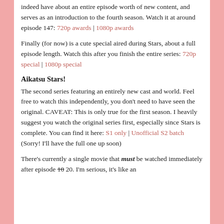indeed have about an entire episode worth of new content, and serves as an introduction to the fourth season. Watch it at around episode 147: 720p awards | 1080p awards
Finally (for now) is a cute special aired during Stars, about a full episode length. Watch this after you finish the entire series: 720p special | 1080p special
Aikatsu Stars!
The second series featuring an entirely new cast and world. Feel free to watch this independently, you don't need to have seen the original. CAVEAT: This is only true for the first season. I heavily suggest you watch the original series first, especially since Stars is complete. You can find it here: S1 only | Unofficial S2 batch (Sorry! I'll have the full one up soon)
There's currently a single movie that must be watched immediately after episode 10 20. I'm serious, it's like an